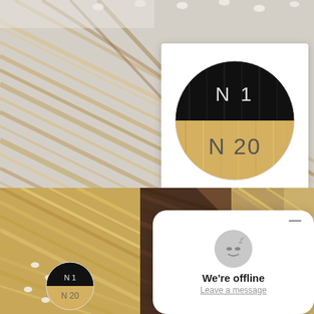[Figure (photo): Close-up photo of blonde/ombre hair extensions with white bead tips, spread out on a white surface. Background for main product image.]
[Figure (photo): Color swatch card showing a circle with split hair color: top half black (N 1) and bottom half blonde (N 20). White card background.]
[Figure (photo): Thumbnail of blonde/ombre hair extensions with small color swatch circle showing N 1 (black) and N 20 (blonde).]
[Figure (photo): Thumbnail of dark brown hair extensions close-up.]
[Figure (photo): Thumbnail of micro-bead hair extensions in blonde/ombre colors.]
We're offline
Leave a message